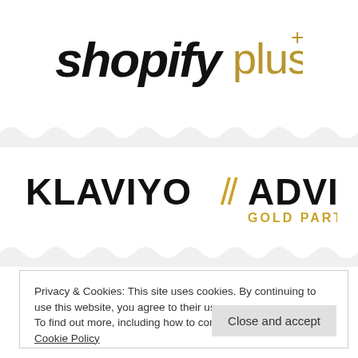[Figure (logo): Shopify Plus logo — 'shopify' in bold black italic with 'plus' in gold/amber color]
[Figure (logo): Klaviyo Advisor Gold Partner logo — KLAVIYO in bold black with gold double-slash separator, ADVISOR in bold black, GOLD PARTNER in gold below]
Privacy & Cookies: This site uses cookies. By continuing to use this website, you agree to their use.
To find out more, including how to control cookies, see here: Cookie Policy